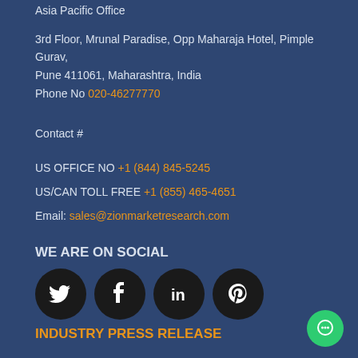Asia Pacific Office
3rd Floor, Mrunal Paradise, Opp Maharaja Hotel, Pimple Gurav, Pune 411061, Maharashtra, India
Phone No 020-46277770
Contact #
US OFFICE NO +1 (844) 845-5245
US/CAN TOLL FREE +1 (855) 465-4651
Email: sales@zionmarketresearch.com
WE ARE ON SOCIAL
[Figure (illustration): Social media icons: Twitter, Facebook, LinkedIn, Pinterest — white icons on black circles]
INDUSTRY PRESS RELEASE